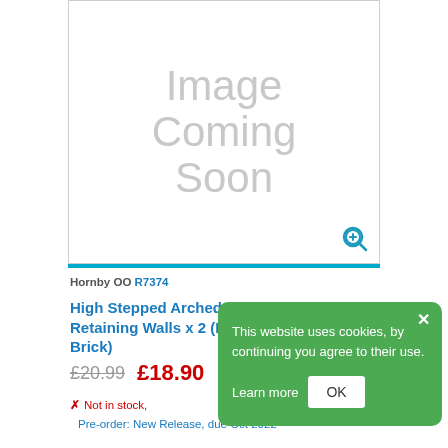[Figure (illustration): Product image placeholder showing 'Image Coming Soon' in large grey text with a zoom icon in the bottom right corner, bordered with a thin grey outline and a blue bar at the bottom.]
Hornby OO R7374
High Stepped Arched Retaining Walls x 2 (Red Brick)
£20.99  £18.90
✗ Not in stock,
Pre-order: New Release, due Oct 2022
This website uses cookies, by continuing you agree to their use. Learn more OK